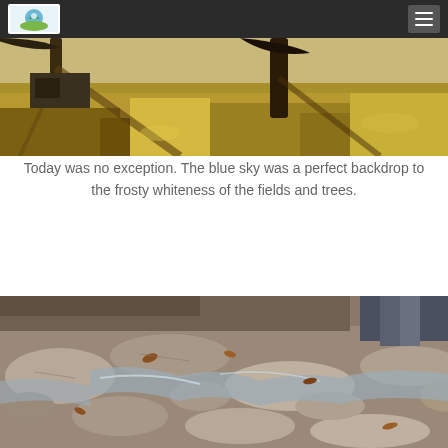[Navigation bar with logo and hamburger menu]
[Figure (photo): Outdoor landscape photo showing a field with dry golden-brown grass and fallen leaves, trees casting long shadows, with a small building visible in the background under bright sunlight.]
Today was no exception.  The blue sky was a perfect backdrop to the frosty whiteness of the fields and trees.
[Figure (photo): Close-up photo of a rocky creek or stream bed with water flowing over flat rocks and stones, with fallen autumn leaves scattered among the rocks.]